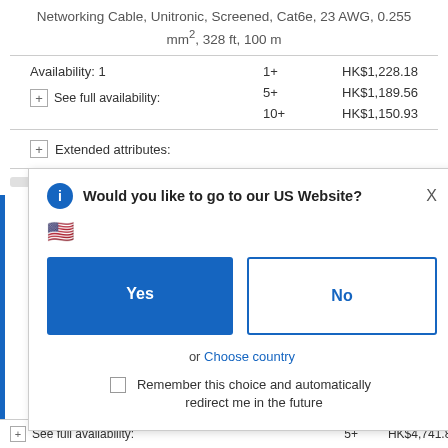Networking Cable, Unitronic, Screened, Cat6e, 23 AWG, 0.255 mm², 328 ft, 100 m
| Availability | Qty | Price |
| --- | --- | --- |
| Availability: 1 | 1+ | HK$1,228.18 |
| See full availability: | 5+ | HK$1,189.56 |
|  | 10+ | HK$1,150.93 |
Extended attributes:
[Figure (screenshot): Modal dialog asking 'Would you like to go to our US Website?' with Yes and No buttons, US flag emoji, and a checkbox for remembering the choice. Close X button in top right.]
See full availability:
5+   HK$4,741.81